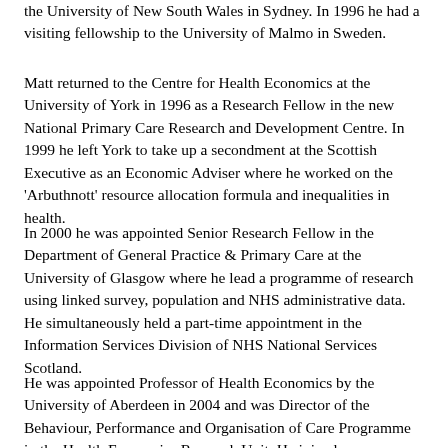the University of New South Wales in Sydney. In 1996 he had a visiting fellowship to the University of Malmo in Sweden.
Matt returned to the Centre for Health Economics at the University of York in 1996 as a Research Fellow in the new National Primary Care Research and Development Centre. In 1999 he left York to take up a secondment at the Scottish Executive as an Economic Adviser where he worked on the 'Arbuthnott' resource allocation formula and inequalities in health.
In 2000 he was appointed Senior Research Fellow in the Department of General Practice & Primary Care at the University of Glasgow where he lead a programme of research using linked survey, population and NHS administrative data. He simultaneously held a part-time appointment in the Information Services Division of NHS National Services Scotland.
He was appointed Professor of Health Economics by the University of Aberdeen in 2004 and was Director of the Behaviour, Performance and Organisation of Care Programme in the Health Economics Research Unit. He joined